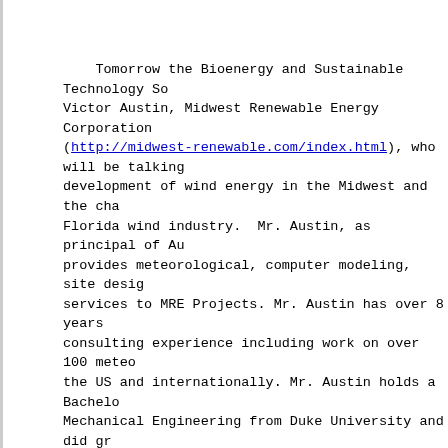Tomorrow the Bioenergy and Sustainable Technology So Victor Austin, Midwest Renewable Energy Corporation (http://midwest-renewable.com/index.html), who will be talking development of wind energy in the Midwest and the cha Florida wind industry. Mr. Austin, as principal of Au provides meteorological, computer modeling, site desig services to MRE Projects. Mr. Austin has over 8 years consulting experience including work on over 100 mete the US and internationally. Mr. Austin holds a Bachel Mechanical Engineering from Duke University and did gr Computational Atmospheric Modeling at the University article from CNN regarding the development of wind ene http://www.cnn.com/2005/US/11/07/energy.wind.reut/index.html.
Who: Victor Austin, Austin Wind Corporation and Midwes Corporation
What: Wind Energy in the United States and the Challe
Where: Reitz Union, Room B20 (that's the basement- u